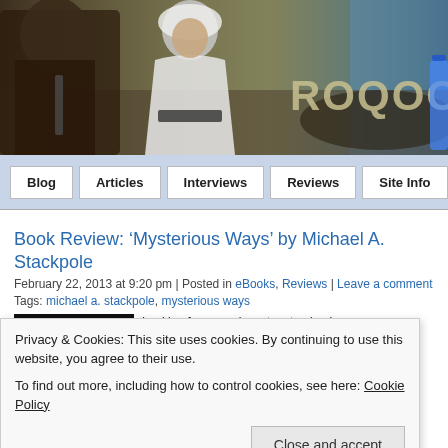[Figure (illustration): Roqoo Depot website banner showing Star Wars characters including Chewbacca and Princess Leia with site title 'ROQOO D' (cropped)]
Blog | Articles | Interviews | Reviews | Site Info
Book Review: ‘Mysterious Ways’ by Michael A. Stackpole
February 22, 2013 at 9:20 pm | Posted in eBooks, Reviews | Leave a comment
Tags: michael a. stackpole, mysterious ways
Privacy & Cookies: This site uses cookies. By continuing to use this website, you agree to their use.
To find out more, including how to control cookies, see here: Cookie Policy
Close and accept